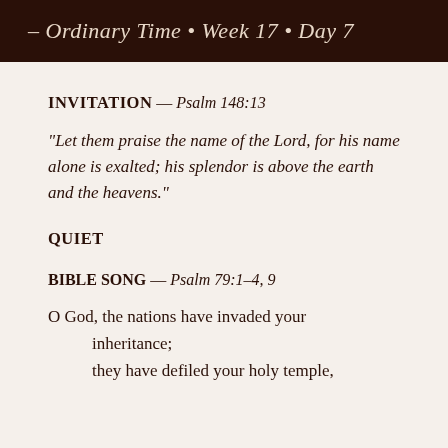– Ordinary Time • Week 17 • Day 7
INVITATION – Psalm 148:13
"Let them praise the name of the Lord, for his name alone is exalted; his splendor is above the earth and the heavens."
QUIET
BIBLE SONG – Psalm 79:1–4, 9
O God, the nations have invaded your inheritance;
    they have defiled your holy temple,